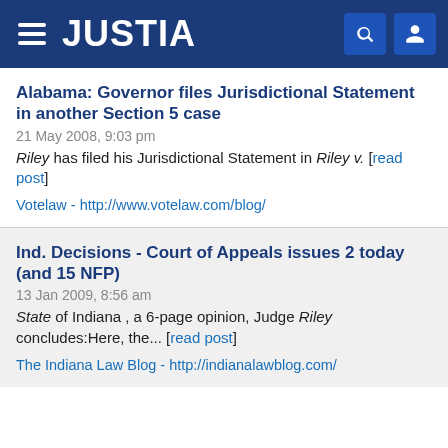JUSTIA
Alabama: Governor files Jurisdictional Statement in another Section 5 case
21 May 2008, 9:03 pm
Riley has filed his Jurisdictional Statement in Riley v. [read post]
Votelaw - http://www.votelaw.com/blog/
Ind. Decisions - Court of Appeals issues 2 today (and 15 NFP)
13 Jan 2009, 8:56 am
State of Indiana , a 6-page opinion, Judge Riley concludes:Here, the... [read post]
The Indiana Law Blog - http://indianalawblog.com/